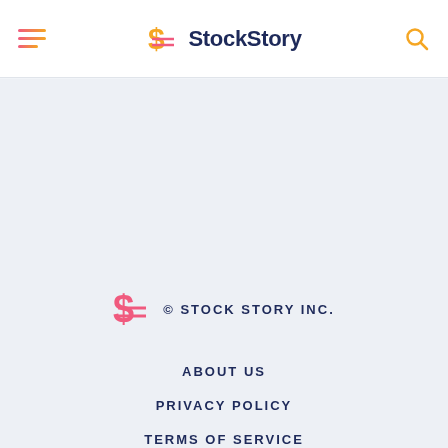StockStory
[Figure (logo): StockStory logo with dollar-sign icon and wordmark]
© STOCK STORY INC.
ABOUT US
PRIVACY POLICY
TERMS OF SERVICE
CAREERS